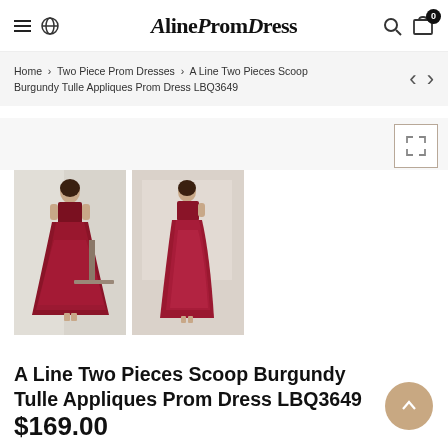AlinePromDress
Home > Two Piece Prom Dresses > A Line Two Pieces Scoop Burgundy Tulle Appliques Prom Dress LBQ3649
[Figure (photo): Two thumbnail photos of a model wearing a two-piece burgundy/red tulle prom dress with appliques, shown in a room setting. Photo 1 shows front view, Photo 2 shows side view.]
A Line Two Pieces Scoop Burgundy Tulle Appliques Prom Dress LBQ3649
$169.00